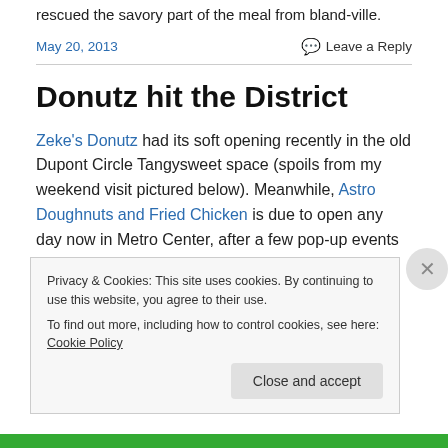rescued the savory part of the meal from bland-ville.
May 20, 2013
Leave a Reply
Donutz hit the District
Zeke's Donutz had its soft opening recently in the old Dupont Circle Tangysweet space (spoils from my weekend visit pictured below). Meanwhile, Astro Doughnuts and Fried Chicken is due to open any day now in Metro Center, after a few pop-up events at Chinatown Coffee
Privacy & Cookies: This site uses cookies. By continuing to use this website, you agree to their use.
To find out more, including how to control cookies, see here: Cookie Policy
Close and accept